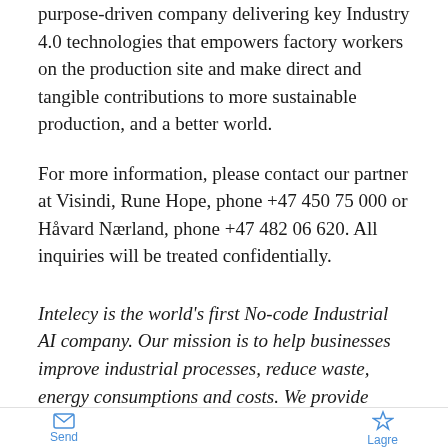purpose-driven company delivering key Industry 4.0 technologies that empowers factory workers on the production site and make direct and tangible contributions to more sustainable production, and a better world.
For more information, please contact our partner at Visindi, Rune Hope, phone +47 450 75 000 or Håvard Nærland, phone +47 482 06 620. All inquiries will be treated confidentially.
Intelecy is the world's first No-code Industrial AI company. Our mission is to help businesses improve industrial processes, reduce waste, energy consumptions and costs. We provide software tools to the engineers in the factories that creates powerful machine learning models from production
Send  Lagre